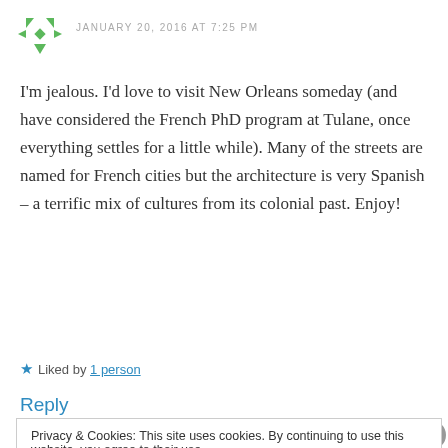[Figure (logo): Green recycling/share icon avatar for commenter]
JANUARY 20, 2016 AT 7:25 PM
I'm jealous. I'd love to visit New Orleans someday (and have considered the French PhD program at Tulane, once everything settles for a little while). Many of the streets are named for French cities but the architecture is very Spanish – a terrific mix of cultures from its colonial past. Enjoy!
★ Liked by 1 person
Reply
Privacy & Cookies: This site uses cookies. By continuing to use this website, you agree to their use. To find out more, including how to control cookies, see here: Cookie Policy
Close and accept